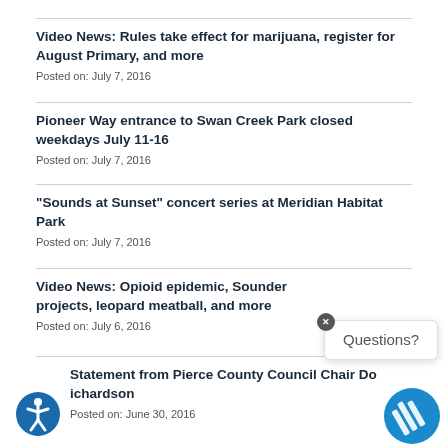Video News: Rules take effect for marijuana, register for August Primary, and more
Posted on: July 7, 2016
Pioneer Way entrance to Swan Creek Park closed weekdays July 11-16
Posted on: July 7, 2016
“Sounds at Sunset” concert series at Meridian Habitat Park
Posted on: July 7, 2016
Video News: Opioid epidemic, Sounder projects, leopard meatball, and more
Posted on: July 6, 2016
Statement from Pierce County Council Chair Do… ichardson
Posted on: June 30, 2016